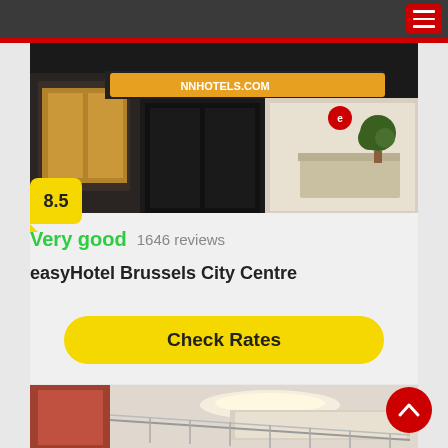Navigation bar with hamburger menu
[Figure (photo): Hotel exterior storefront at night showing easyHotel signage with illuminated windows]
8.5
Very good   1646 reviews
easyHotel Brussels City Centre
Check Rates
[Figure (photo): Hotel interior room showing white walls and ceiling with lighting fixtures]